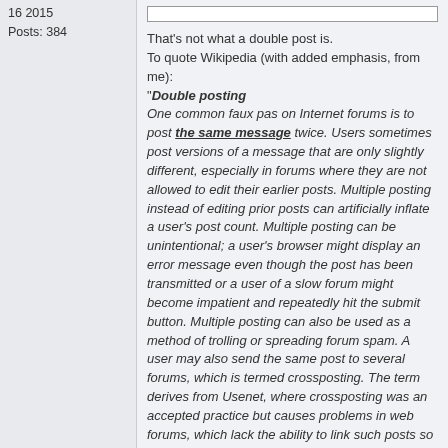16 2015
Posts: 384
That's not what a double post is.
To quote Wikipedia (with added emphasis, from me):
"Double posting
One common faux pas on Internet forums is to post the same message twice. Users sometimes post versions of a message that are only slightly different, especially in forums where they are not allowed to edit their earlier posts. Multiple posting instead of editing prior posts can artificially inflate a user's post count. Multiple posting can be unintentional; a user's browser might display an error message even though the post has been transmitted or a user of a slow forum might become impatient and repeatedly hit the submit button. Multiple posting can also be used as a method of trolling or spreading forum spam. A user may also send the same post to several forums, which is termed crossposting. The term derives from Usenet, where crossposting was an accepted practice but causes problems in web forums, which lack the ability to link such posts so replies in one forum are not visible to people reading the post in other forums."
http://https://en.wikipedia.org/wiki/Internet_forum#Do
That is what double posting means, what it has